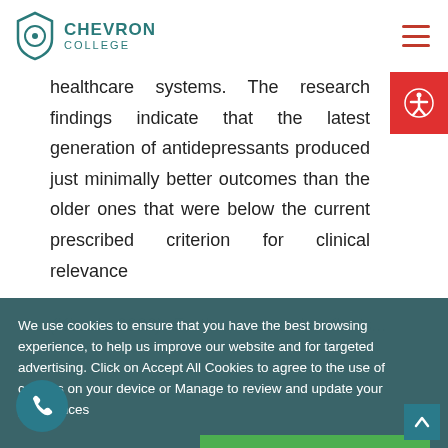CHEVRON COLLEGE
healthcare systems. The research findings indicate that the latest generation of antidepressants produced just minimally better outcomes than the older ones that were below the current prescribed criterion for clinical relevance (Kirsch, 2002). Further, research reflects...
We use cookies to ensure that you have the best browsing experience, to help us improve our website and for targeted advertising. Click on Accept All Cookies to agree to the use of cookies on your device or Manage to review and update your preferences
MANAGE PREFERENCES
I ACCEPT
(Turner and colleagues, 2008)... researching the relationship between the placebo effect and depression the researcher discovered that the